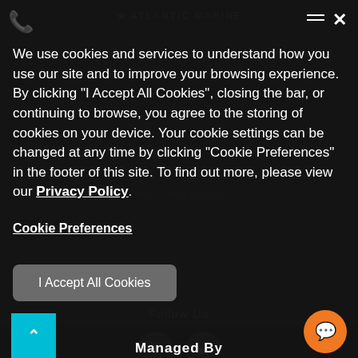We use cookies and services to understand how you use our site and to improve your browsing experience. By clicking "I Accept All Cookies", closing the bar, or continuing to browse, you agree to the storing of cookies on your device. Your cookie settings can be changed at any time by clicking "Cookie Preferences" in the footer of this site. To find out more, please view our Privacy Policy.
Cookie Preferences
I Accept All Cookies
Follow Us
[Figure (illustration): Social media icons: Facebook (f) and YouTube play button icons in gray circular buttons]
Managed By